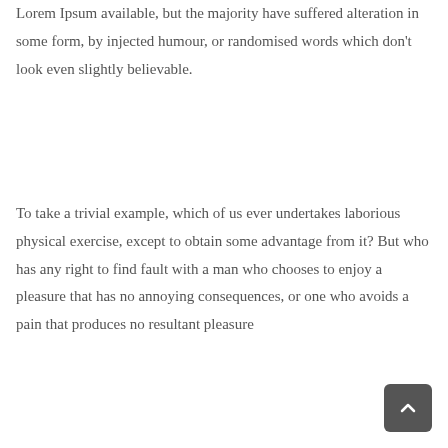Lorem Ipsum available, but the majority have suffered alteration in some form, by injected humour, or randomised words which don't look even slightly believable.
To take a trivial example, which of us ever undertakes laborious physical exercise, except to obtain some advantage from it? But who has any right to find fault with a man who chooses to enjoy a pleasure that has no annoying consequences, or one who avoids a pain that produces no resultant pleasure